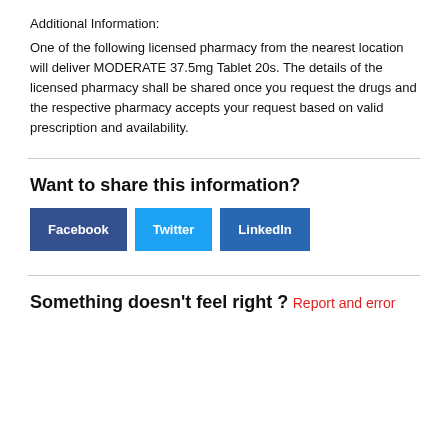Additional Information:
One of the following licensed pharmacy from the nearest location will deliver MODERATE 37.5mg Tablet 20s. The details of the licensed pharmacy shall be shared once you request the drugs and the respective pharmacy accepts your request based on valid prescription and availability.
Want to share this information?
Facebook  Twitter  LinkedIn
Something doesn't feel right ?
Report and error